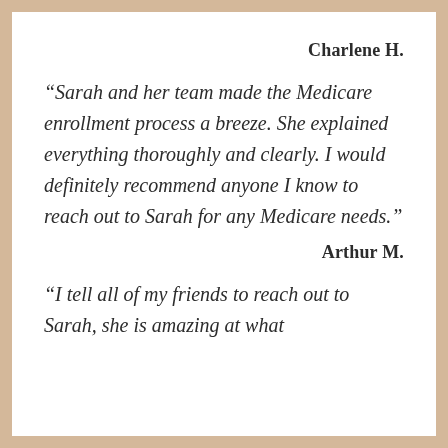Charlene H.
“Sarah and her team made the Medicare enrollment process a breeze. She explained everything thoroughly and clearly. I would definitely recommend anyone I know to reach out to Sarah for any Medicare needs.”
Arthur M.
“I tell all of my friends to reach out to Sarah, she is amazing at what